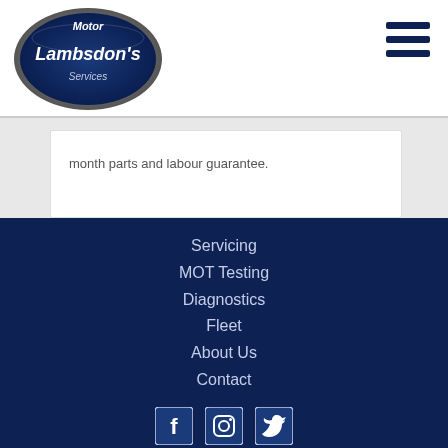[Figure (logo): Motor Lambsdon's Services oval logo in blue and silver]
month parts and labour guarantee.
Servicing
MOT Testing
Diagnostics
Fleet
About Us
Contact
[Figure (illustration): Social media icons: Facebook, Instagram, Twitter]
© 2022 Lambsdons